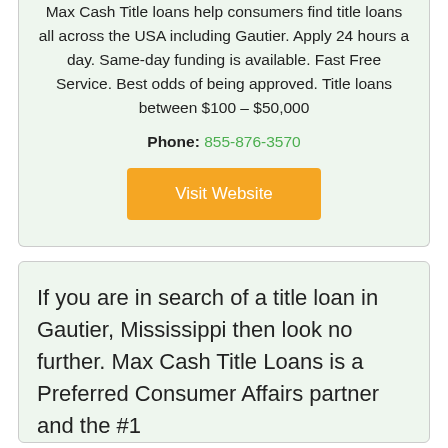Max Cash Title loans help consumers find title loans all across the USA including Gautier. Apply 24 hours a day. Same-day funding is available. Fast Free Service. Best odds of being approved. Title loans between $100 – $50,000
Phone: 855-876-3570
Visit Website
If you are in search of a title loan in Gautier, Mississippi then look no further. Max Cash Title Loans is a Preferred Consumer Affairs partner and the #1